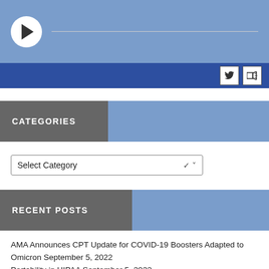[Figure (screenshot): Video player block with white circular play button and progress line on blue background]
[Figure (screenshot): Social media bar (dark blue) with Twitter bird icon and speaker/audio icon buttons]
CATEGORIES
Select Category
RECENT POSTS
AMA Announces CPT Update for COVID-19 Boosters Adapted to Omicron September 5, 2022
Portability in HIPAA September 5, 2022
Never Waste a Good Crisis September 4, 2022
Your Hospital Is Average September 4, 2022